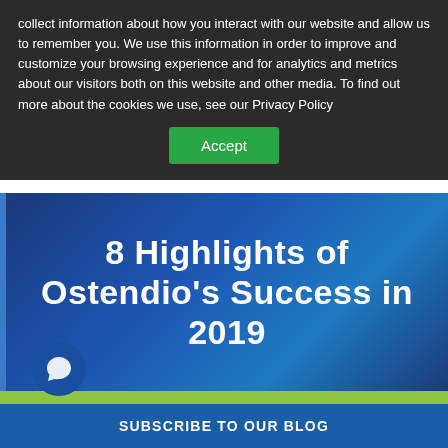collect information about how you interact with our website and allow us to remember you. We use this information in order to improve and customize your browsing experience and for analytics and metrics about our visitors both on this website and other media. To find out more about the cookies we use, see our Privacy Policy
Accept
8 Highlights of Ostendio's Success in 2019
Written by Grant Elliott, President and CEO, Ostendio on January 7, 2020
2019 was an incredible year of growth for Ostendio. We continue to ramp up our business while working
SUBSCRIBE TO OUR BLOG